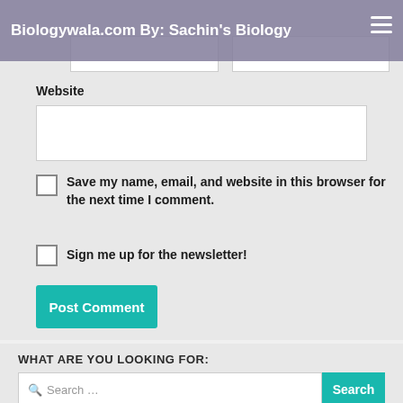Biologywala.com By: Sachin's Biology
Name *
Email *
Website
Save my name, email, and website in this browser for the next time I comment.
Sign me up for the newsletter!
Post Comment
WHAT ARE YOU LOOKING FOR:
Search …
Search